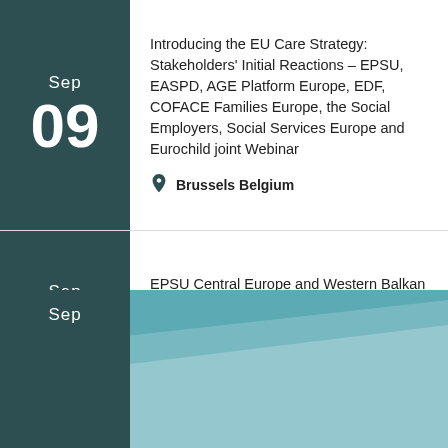Sep 09 — Introducing the EU Care Strategy: Stakeholders' Initial Reactions – EPSU, EASPD, AGE Platform Europe, EDF, COFACE Families Europe, the Social Employers, Social Services Europe and Eurochild joint Webinar | Brussels Belgium
Sep 20 — EPSU Central Europe and Western Balkan Constituency Meeting 2022 (2) – Online Meeting | Brussels Belgium